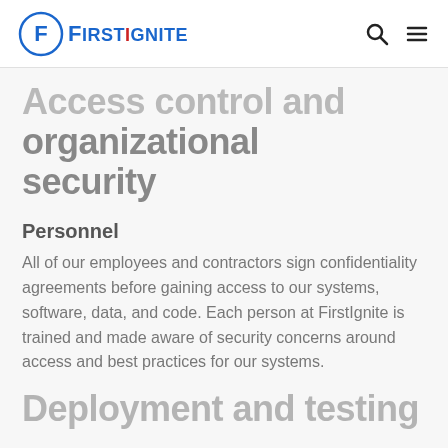FirstIgnite
Access control and organizational security
Personnel
All of our employees and contractors sign confidentiality agreements before gaining access to our systems, software, data, and code. Each person at FirstIgnite is trained and made aware of security concerns around access and best practices for our systems.
Deployment and testing